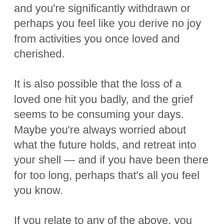and you're significantly withdrawn or perhaps you feel like you derive no joy from activities you once loved and cherished.
It is also possible that the loss of a loved one hit you badly, and the grief seems to be consuming your days. Maybe you're always worried about what the future holds, and retreat into your shell — and if you have been there for too long, perhaps that's all you feel you know.
If you relate to any of the above, you are like many people we see at our office in Santa Monica. Life is full of ups and downs, but if the downs seem to consume all our emotional resources — we need to seek help to rejuvenate those resources. Just like how our body feels better after we see a doctor for physical ailments,